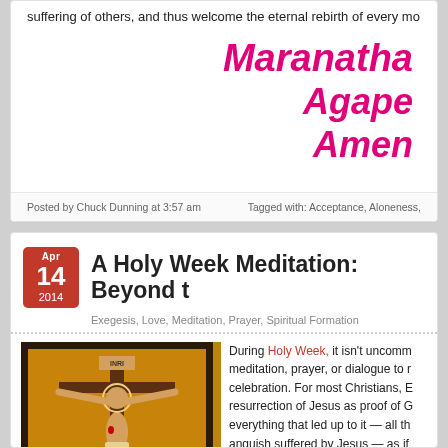suffering of others, and thus welcome the eternal rebirth of every mo
Maranatha
Agape
Amen
Posted by Chuck Dunning at 3:57 am
Tagged with: Acceptance, Aloneness,
A Holy Week Meditation: Beyond t
Exegesis, Love, Meditation, Prayer, Spiritual Formation
[Figure (illustration): Crucifixion icon painting on orange background showing Jesus on the cross with stylized figures]
During Holy Week, it isn't uncomm meditation, prayer, or dialogue to r celebration.  For most Christians, E resurrection of Jesus as proof of G everything that led up to it — all th anguish suffered by Jesus — as if